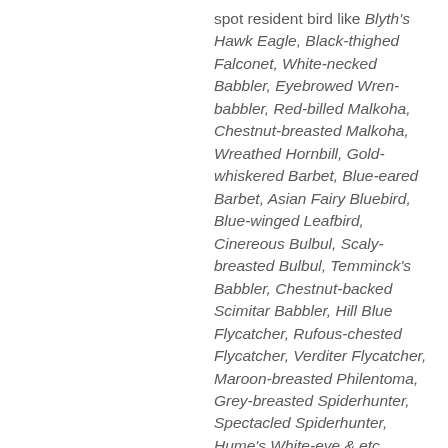spot resident bird like Blyth's Hawk Eagle, Black-thighed Falconet, White-necked Babbler, Eyebrowed Wren-babbler, Red-billed Malkoha, Chestnut-breasted Malkoha, Wreathed Hornbill, Gold-whiskered Barbet, Blue-eared Barbet, Asian Fairy Bluebird, Blue-winged Leafbird, Cinereous Bulbul, Scaly-breasted Bulbul, Temminck's Babbler, Chestnut-backed Scimitar Babbler, Hill Blue Flycatcher, Rufous-chested Flycatcher, Verditer Flycatcher, Maroon-breasted Philentoma, Grey-breasted Spiderhunter, Spectacled Spiderhunter, Hume's White-eye & etc. Lunch at Annah Rais Restaurant by own expenses. After lunch continue for birding till late afternoon then transfer back to Kuching City.